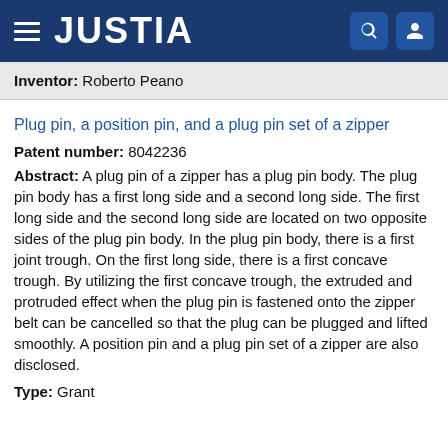JUSTIA
Inventor: Roberto Peano
Plug pin, a position pin, and a plug pin set of a zipper
Patent number: 8042236
Abstract: A plug pin of a zipper has a plug pin body. The plug pin body has a first long side and a second long side. The first long side and the second long side are located on two opposite sides of the plug pin body. In the plug pin body, there is a first joint trough. On the first long side, there is a first concave trough. By utilizing the first concave trough, the extruded and protruded effect when the plug pin is fastened onto the zipper belt can be cancelled so that the plug can be plugged and lifted smoothly. A position pin and a plug pin set of a zipper are also disclosed.
Type: Grant